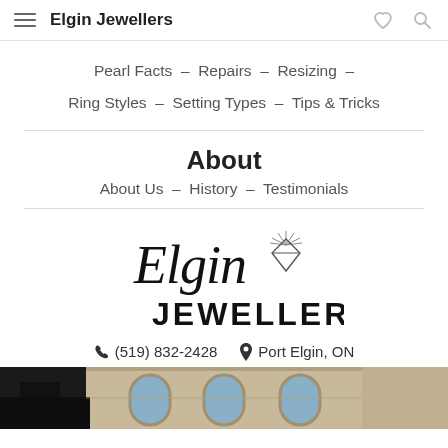Elgin Jewellers
Pearl Facts – Repairs – Resizing – Ring Styles – Setting Types – Tips & Tricks
About
About Us – History – Testimonials
[Figure (logo): Elgin Jewellers logo with cursive 'Elgin' text, diamond graphic, and bold 'JEWELLERS' text below]
(519) 832-2428   Port Elgin, ON
[Figure (photo): Partial view of a stone building facade with arched windows]